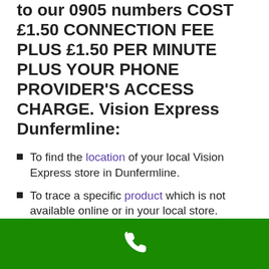to our 0905 numbers COST £1.50 CONNECTION FEE PLUS £1.50 PER MINUTE PLUS YOUR PHONE PROVIDER'S ACCESS CHARGE. Vision Express Dunfermline:
To find the location of your local Vision Express store in Dunfermline.
To trace a specific product which is not available online or in your local store.
To apply for a job at the Dunfermline Vision Express branch or find out more about the application process.
To make a complaint about a product or member of staff in the Dunfermline...
[Figure (other): Green bar at bottom with white phone handset icon]